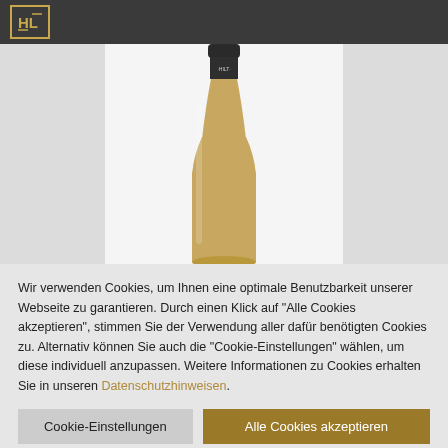HL logo header bar
[Figure (photo): Wine bottle neck and upper body on a light gray background, between two darker gray column panels. The bottle has a dark cap with 'HILT' text visible on the capsule.]
Wir verwenden Cookies, um Ihnen eine optimale Benutzbarkeit unserer Webseite zu garantieren. Durch einen Klick auf "Alle Cookies akzeptieren", stimmen Sie der Verwendung aller dafür benötigten Cookies zu. Alternativ können Sie auch die "Cookie-Einstellungen" wählen, um diese individuell anzupassen. Weitere Informationen zu Cookies erhalten Sie in unseren Datenschutzhinweisen.
Cookie-Einstellungen | Alle Cookies akzeptieren